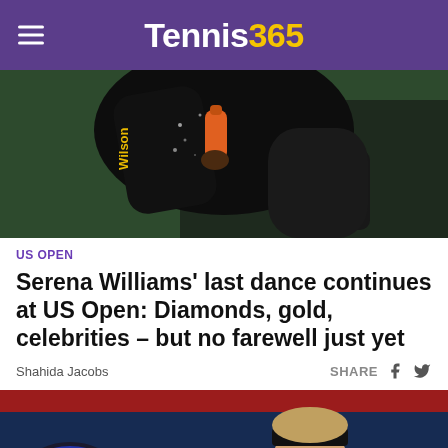Tennis365
[Figure (photo): Serena Williams holding a water bottle, wearing a black sequined jacket with a Wilson tennis bag over her shoulder, on a tennis court.]
US OPEN
Serena Williams' last dance continues at US Open: Diamonds, gold, celebrities – but no farewell just yet
Shahida Jacobs
[Figure (photo): A male tennis player wearing a black headband, holding a tennis racket, with a yellow tennis ball visible in the foreground, against a blue background.]